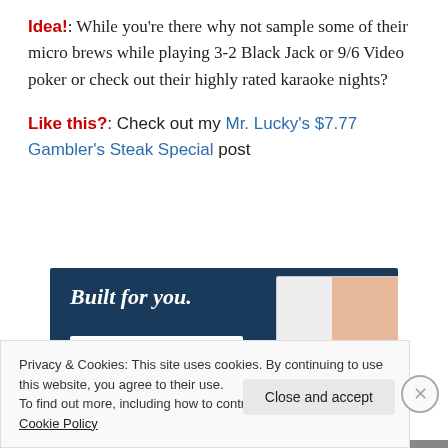Idea!: While you're there why not sample some of their micro brews while playing 3-2 Black Jack or 9/6 Video poker or check out their highly rated karaoke nights?
Like this?: Check out my Mr. Lucky's $7.77 Gambler's Steak Special post
[Figure (screenshot): Advertisement banner with dark navy background showing 'Built for you.' text in white italic font and a 'Get a quote now' white button, with a mock UI showing fashion images on the right.]
Privacy & Cookies: This site uses cookies. By continuing to use this website, you agree to their use.
To find out more, including how to control cookies, see here: Cookie Policy